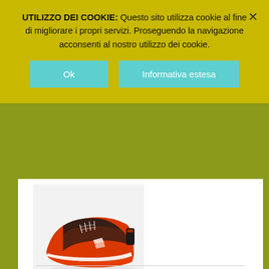UTILIZZO DEI COOKIE: Questo sito utilizza cookie al fine di migliorare i propri servizi. Proseguendo la navigazione acconsenti al nostro utilizzo dei cookie.
Ok
Informativa estesa
[Figure (photo): Orange and black Reebok athletic shoe on white background]
Archivi